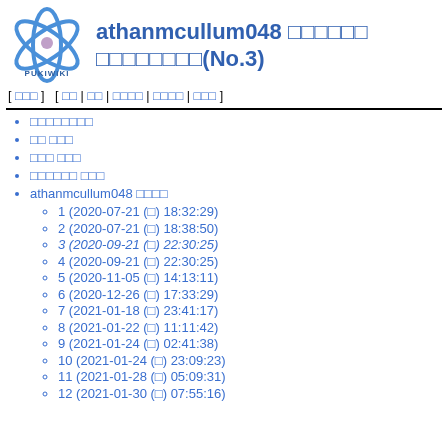[Figure (logo): PukiWiki logo: blue atomic/orbital symbol with pink center dot, text PUKIWIKI below]
athanmcullum048 □□□□□□ □□□□□□□□(No.3)
[ □□□ ]  [ □□ | □□ | □□□□ | □□□□ | □□□ ]
□□□□□□□□
□□ □□□
□□□ □□□
□□□□□□ □□□
athanmcullum048 □□□□
1 (2020-07-21 (□) 18:32:29)
2 (2020-07-21 (□) 18:38:50)
3 (2020-09-21 (□) 22:30:25)
4 (2020-09-21 (□) 22:30:25)
5 (2020-11-05 (□) 14:13:11)
6 (2020-12-26 (□) 17:33:29)
7 (2021-01-18 (□) 23:41:17)
8 (2021-01-22 (□) 11:11:42)
9 (2021-01-24 (□) 02:41:38)
10 (2021-01-24 (□) 23:09:23)
11 (2021-01-28 (□) 05:09:31)
12 (2021-01-30 (□) 07:55:16)